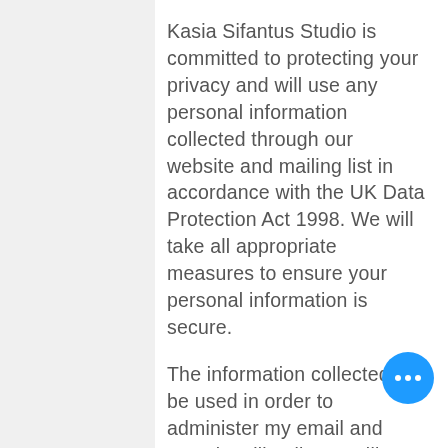Kasia Sifantus Studio is committed to protecting your privacy and will use any personal information collected through our website and mailing list in accordance with the UK Data Protection Act 1998. We will take all appropriate measures to ensure your personal information is secure.
The information collected will be used in order to administer my email and postal mailing lists. I will NOT share this information with any third parties. Kasia Sifantus Studio will not use this information for any other way than that described, or disclose it to any third party without your prior consent. Kasia Sifantus Studio believes the information she holds about you is your